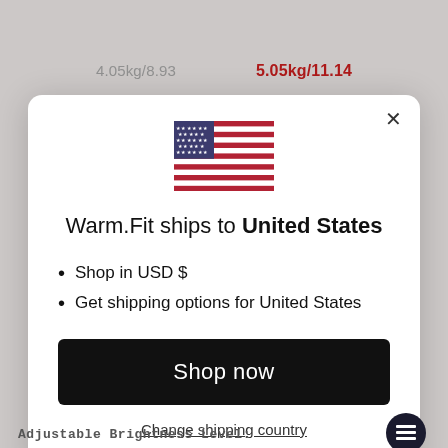4.05kg/8.93   5.05kg/11.14
[Figure (illustration): US flag emoji/icon centered in modal]
Warm.Fit ships to United States
Shop in USD $
Get shipping options for United States
Shop now
Change shipping country
Adjustable Brightness Level: